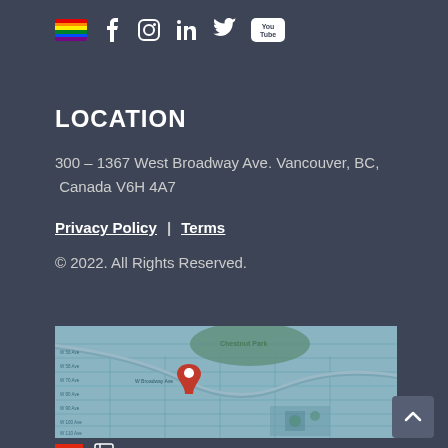[Figure (other): Social media icons row: rainbow/pride flag icon, Facebook, Instagram, LinkedIn, Twitter, YouTube]
LOCATION
300 – 1367 West Broadway Ave. Vancouver, BC, Canada V6H 4A7
Privacy Policy | Terms
© 2022. All Rights Reserved.
[Figure (map): Google Maps embed showing Vancouver area around W Broadway Ave with a red location pin marker]
[Figure (other): Language selector icons: Chinese flag and a book/language icon]
[Figure (other): Back to top button with upward chevron arrow]